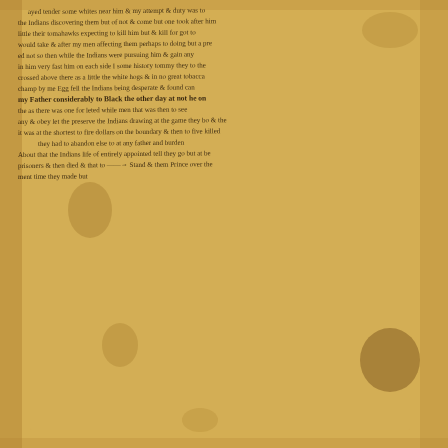[Figure (photo): Aged handwritten manuscript page on yellowed/stained parchment paper with brown ink cursive writing, multiple stains and foxing marks visible. Historical document appearing to be an 18th or 19th century personal narrative or letter describing interactions with Native Americans, capturing prisoners, and frontier experiences.]